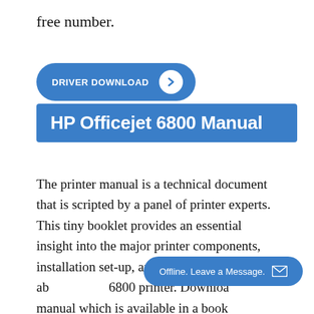free number.
[Figure (other): Blue pill-shaped button with text 'DRIVER DOWNLOAD' and a white circular arrow icon on the right]
HP Officejet 6800 Manual
The printer manual is a technical document that is scripted by a panel of printer experts. This tiny booklet provides an essential insight into the major printer components, installation set-up, and troubleshooting steps ab... 6800 printer. Downloa... manual which is available in a book
[Figure (other): Blue rounded pill-shaped chat bubble with text 'Offline. Leave a Message.' and an envelope icon]